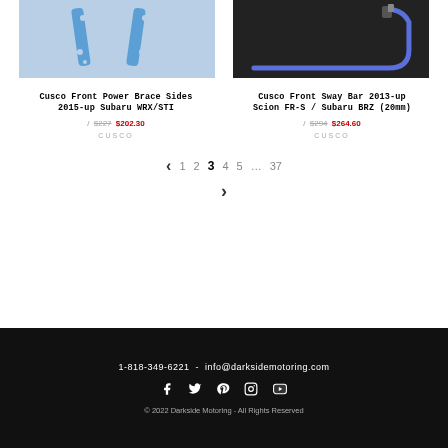[Figure (photo): Blue Cusco Front Power Brace Sides product photo on light blue background]
[Figure (photo): Blue Cusco Front Sway Bar product photo on dark background]
Cusco Front Power Brace Sides 2015-up Subaru WRX/STI
/ $227 $202.30
CUSCO
Cusco Front Sway Bar 2013-up Scion FR-S / Subaru BRZ (20mm)
/ $294 $264.60
CUSCO
< 1 2 3 4 5 ... 37 >
1-818-349-6221 - info@darksidemotoring.com © 2022 Darkside Motoring - All Rights Reserved